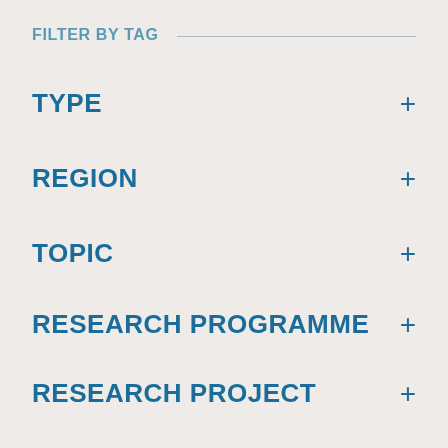FILTER BY TAG
TYPE +
REGION +
TOPIC +
RESEARCH PROGRAMME +
RESEARCH PROJECT +
RESEARCH THEME +